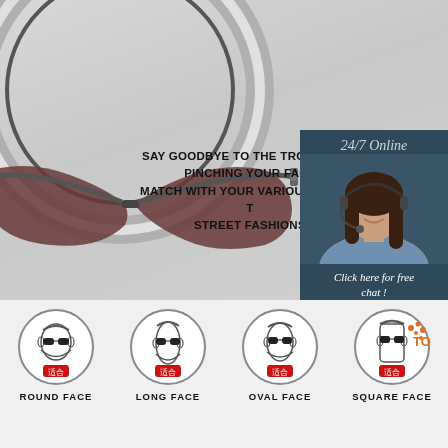[Figure (photo): Product photo of folded rimless sunglasses with dark lenses, circular frame elements visible, on light gray background]
SAY GOODBYE TO THE TROUBLE OF PINCHING YOUR FACE MATCH WITH YOUR VARIOUS OUT OF T STREET FASHIONS
[Figure (infographic): Customer service chat widget: '24/7 Online' header with photo of smiling woman with headset, 'Click here for free chat!' text, and orange QUOTATION button]
[Figure (infographic): Four face shape icons in circles labeled ROUND FACE, LONG FACE, OVAL FACE, SQUARE FACE, each with sunglasses illustration and red '适合' (suitable) badge]
ROUND FACE
LONG FACE
OVAL FACE
SQUARE FACE